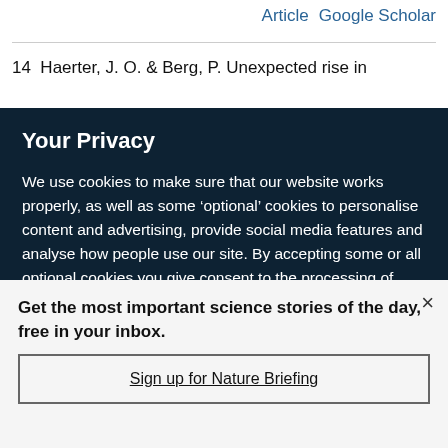Article   Google Scholar
14  Haerter, J. O. & Berg, P. Unexpected rise in
Your Privacy
We use cookies to make sure that our website works properly, as well as some ‘optional’ cookies to personalise content and advertising, provide social media features and analyse how people use our site. By accepting some or all optional cookies you give consent to the processing of your personal data, including transfer to third parties, some in countries outside of the European Economic Area that do not offer the same data protection standards as the country where you live. You can decide which optional cookies to accept by clicking on ‘Manage Settings’, where you can
Get the most important science stories of the day, free in your inbox.
Sign up for Nature Briefing